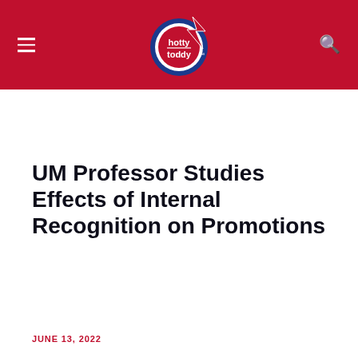hotty toddy
UM Professor Studies Effects of Internal Recognition on Promotions
JUNE 13, 2022